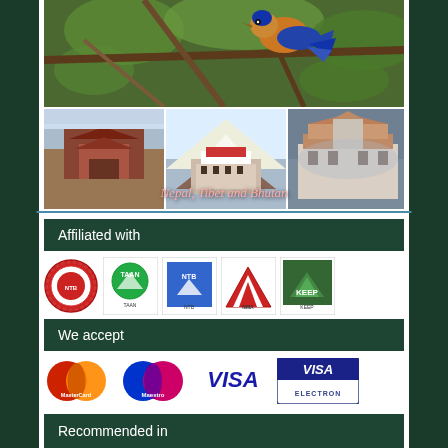[Figure (photo): Close-up photo of a colorful bird (appears to be a jay or similar bird with orange and blue plumage) perched on tree branches with green leaves in background]
[Figure (photo): Composite strip of three travel photos showing Nepal (Durbar Square temple), Tibet (Potala Palace), and Bhutan (Tashichho Dzong monastery) with text overlay 'Nepal, Tibet and Bhutan']
Affiliated with
[Figure (logo): Row of affiliation logos: Nepal Tourism Board emblem, TAAN (Trekking Agencies Association of Nepal), NTB, NMA (Nepal Mountaineering Association), and KEEP logos]
We accept
[Figure (logo): Payment method logos: MasterCard, Maestro, VISA, VISA ELECTRON]
Recommended in